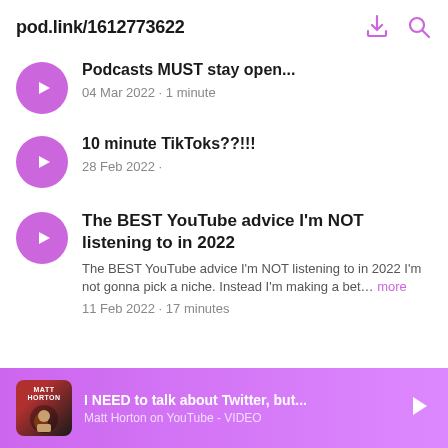pod.link/1612773622
Podcasts MUST stay open...
04 Mar 2022 · 1 minute
10 minute TikToks??!!!
28 Feb 2022 ·
The BEST YouTube advice I'm NOT listening to in 2022
The BEST YouTube advice I'm NOT listening to in 2022 I'm not gonna pick a niche. Instead I'm making a bet... more
11 Feb 2022 · 17 minutes
I NEED to talk about Twitter, but...
Matt Horton on YouTube - VIDEO